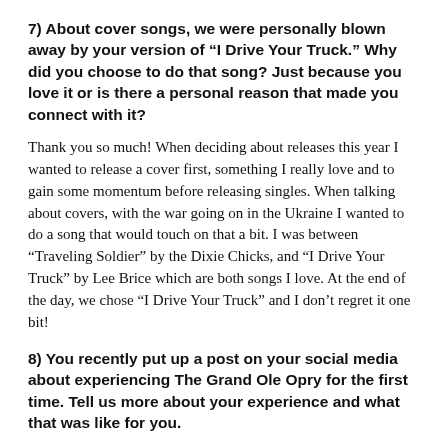7) About cover songs, we were personally blown away by your version of “I Drive Your Truck.” Why did you choose to do that song? Just because you love it or is there a personal reason that made you connect with it?
Thank you so much! When deciding about releases this year I wanted to release a cover first, something I really love and to gain some momentum before releasing singles. When talking about covers, with the war going on in the Ukraine I wanted to do a song that would touch on that a bit. I was between “Traveling Soldier” by the Dixie Chicks, and “I Drive Your Truck” by Lee Brice which are both songs I love. At the end of the day, we chose “I Drive Your Truck” and I don’t regret it one bit!
8) You recently put up a post on your social media about experiencing The Grand Ole Opry for the first time. Tell us more about your experience and what that was like for you.
There are not enough words to describe this experience! Originally, I was going to wait to go to the Grand Ole Opry until it was my Opry debut, but when my friend Tiera invited me to go watch her perform, I couldn’t say no! I’m glad that I went because my emotions were going crazy. I